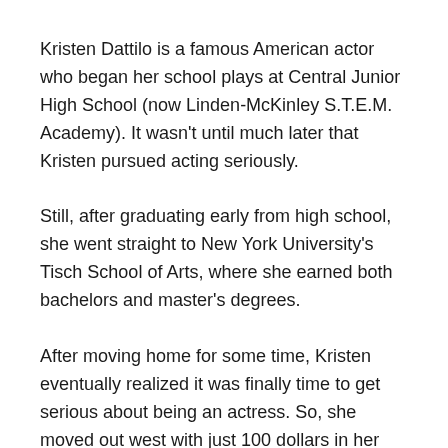Kristen Dattilo is a famous American actor who began her school plays at Central Junior High School (now Linden-McKinley S.T.E.M. Academy). It wasn't until much later that Kristen pursued acting seriously.
Still, after graduating early from high school, she went straight to New York University's Tisch School of Arts, where she earned both bachelors and master's degrees.
After moving home for some time, Kristen eventually realized it was finally time to get serious about being an actress. So, she moved out west with just 100 dollars in her pocket, thinking.